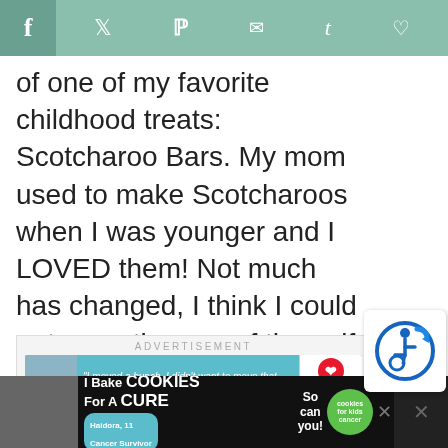f  ♥  ✉  t  ♡
of one of my favorite childhood treats: Scotcharoo Bars. My mom used to make Scotcharoos when I was younger and I LOVED them! Not much has changed, I think I could eat an entire pan of these if I really wanted to!
[Figure (infographic): Advertisement banner with ADVERTISEMENT label and Dave Thomas Foundation for Adoption ad showing a boy and quote text]
[Figure (infographic): Accessibility icon button - blue circle with wheelchair symbol]
530
[Figure (infographic): WHAT'S NEXT arrow - Gluten Free Smoky... with food thumbnail]
[Figure (infographic): Bottom banner ad: I Bake COOKIES For A CURE - Haidora, 11 Cancer Survivor - So can you! - cookies for kids cancer logo]